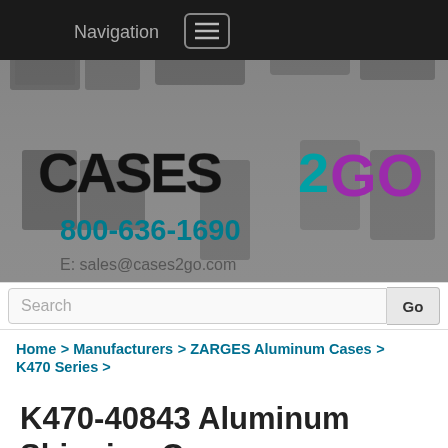Navigation
[Figure (screenshot): Cases2Go website hero banner with grayscale background showing various aluminum shipping cases, featuring the Cases2Go logo in black, teal, and purple, phone number 800-636-1690, and email sales@cases2go.com]
800-636-1690
E: sales@cases2go.com
Search
Home > Manufacturers > ZARGES Aluminum Cases > K470 Series >
K470-40843 Aluminum Shipping Case